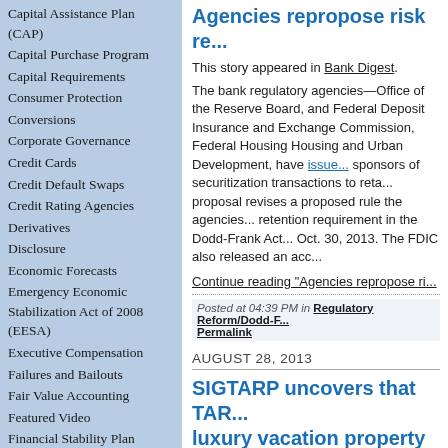Capital Assistance Plan (CAP)
Capital Purchase Program
Capital Requirements
Consumer Protection
Conversions
Corporate Governance
Credit Cards
Credit Default Swaps
Credit Rating Agencies
Derivatives
Disclosure
Economic Forecasts
Emergency Economic Stabilization Act of 2008 (EESA)
Executive Compensation
Failures and Bailouts
Fair Value Accounting
Featured Video
Financial Stability Plan
Agencies repropose risk re...
This story appeared in Bank Digest.
The bank regulatory agencies—Office of the Reserve Board, and Federal Deposit Insurance and Exchange Commission, Federal Housing Housing and Urban Development, have issued... sponsors of securitization transactions to reta... proposal revises a proposed rule the agencies... retention requirement in the Dodd-Frank Act... Oct. 30, 2013. The FDIC also released an acc...
Continue reading "Agencies repropose ri..."
Posted at 04:39 PM in Regulatory Reform/Dodd-F... Permalink
AUGUST 28, 2013
SIGTARP uncovers that TAR... luxury vacation property
This story appeared in Bank Digest.
The Special Inspector General for the Tr... announced on Aug. 27, 2013, that Darry... chairman and chief financial officer of Ma... guilty in federal court on Aug. 26, 2013, t... the use of $381,000 in TARP bank bailo... condominium in Fort Myers, Fla. Under...